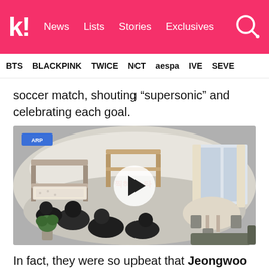k! News Lists Stories Exclusives
BTS BLACKPINK TWICE NCT aespa IVE SEVE
soccer match, shouting “supersonic” and celebrating each goal.
[Figure (screenshot): Fisheye view of a bedroom/dormitory with people sitting on the floor, bunk beds, a dining table, and curtained windows. A blue ARP badge is in the top-left corner. A white circular play button overlay is centered on the image.]
In fact, they were so upbeat that Jeongwoo